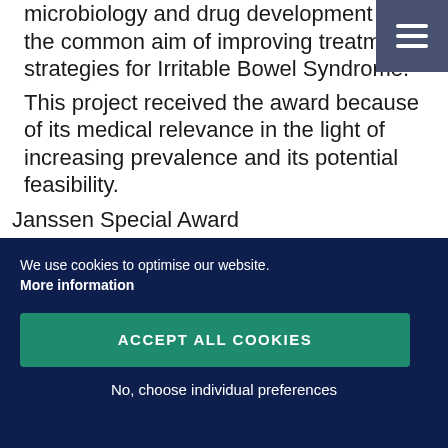microbiology and drug development with the common aim of improving treatment strategies for Irritable Bowel Syndrome.
This project received the award because of its medical relevance in the light of increasing prevalence and its potential feasibility.
Janssen Special Award
The Janssen Special Award is given for projects with particular relevance for the healthcare of tomorrow. It is run by life-science Career Services within the context of life-science-success. The prize is funded
We use cookies to optimise our website. More information
ACCEPT ALL COOKIES
No, choose individual preferences